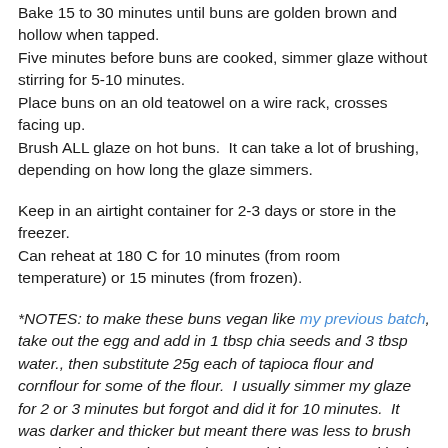Bake 15 to 30 minutes until buns are golden brown and hollow when tapped.
Five minutes before buns are cooked, simmer glaze without stirring for 5-10 minutes.
Place buns on an old teatowel on a wire rack, crosses facing up.
Brush ALL glaze on hot buns.  It can take a lot of brushing, depending on how long the glaze simmers.
Keep in an airtight container for 2-3 days or store in the freezer.
Can reheat at 180 C for 10 minutes (from room temperature) or 15 minutes (from frozen).
*NOTES: to make these buns vegan like my previous batch, take out the egg and add in 1 tbsp chia seeds and 3 tbsp water., then substitute 25g each of tapioca flour and cornflour for some of the flour.  I usually simmer my glaze for 2 or 3 minutes but forgot and did it for 10 minutes.  It was darker and thicker but meant there was less to brush onto the hot cross buns so it was quicker.  As I noted in the post, the dough does not rise nearly as much as the yeast ones I make.  Also the buns take a lot longer to cook than the yeast